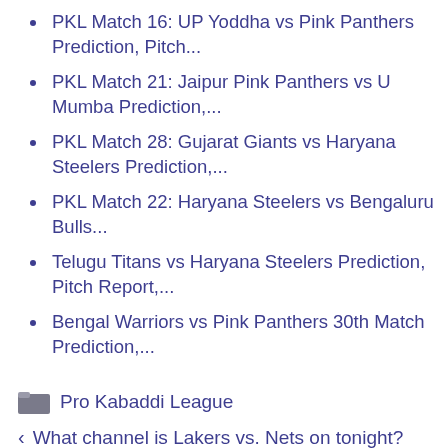PKL Match 16: UP Yoddha vs Pink Panthers Prediction, Pitch...
PKL Match 21: Jaipur Pink Panthers vs U Mumba Prediction,...
PKL Match 28: Gujarat Giants vs Haryana Steelers Prediction,...
PKL Match 22: Haryana Steelers vs Bengaluru Bulls...
Telugu Titans vs Haryana Steelers Prediction, Pitch Report,...
Bengal Warriors vs Pink Panthers 30th Match Prediction,...
Pro Kabaddi League
< What channel is Lakers vs. Nets on tonight? Time, TV schedule for 2021 NBA